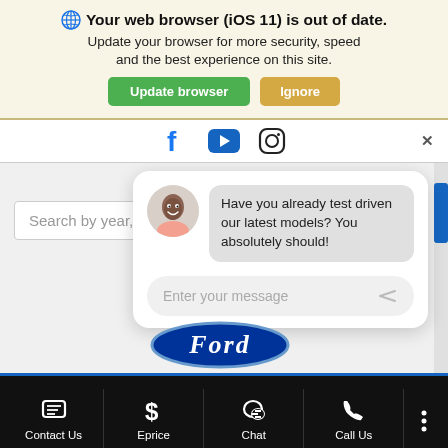[Figure (screenshot): Browser update warning banner with globe icon, bold text 'Your web browser (iOS 11) is out of date.', subtitle text, green 'Update browser' button, and gold 'Ignore' button on a light yellow background]
[Figure (screenshot): Social media icons bar (Facebook, YouTube, Instagram) with X close button on the right]
[Figure (screenshot): Main web page area showing a search bar with placeholder 'Search by year, make, m...' and a chat widget with avatar, chat bubble saying 'Have you already test driven our latest models? You absolutely should!', and message input field 'Enter your message', with Ford oval logo partially visible at the bottom]
[Figure (screenshot): Black bottom navigation bar with Contact Us, Eprice, Chat, Call Us icons and a three-dot menu]